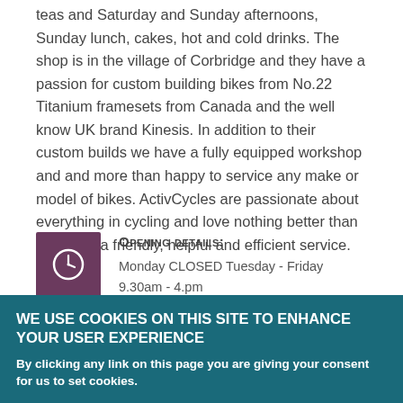teas and Saturday and Sunday afternoons, Sunday lunch, cakes, hot and cold drinks. The shop is in the village of Corbridge and they have a passion for custom building bikes from No.22 Titanium framesets from Canada and the well know UK brand Kinesis. In addition to their custom builds we have a fully equipped workshop and and more than happy to service any make or model of bikes. ActivCycles are passionate about everything in cycling and love nothing better than providing a friendly, helpful and efficient service.
Opening details:
Monday CLOSED Tuesday - Friday 9.30am - 4.pm Saturday 9.30am-4.30pm Sunday 9.30am-4...
WE USE COOKIES ON THIS SITE TO ENHANCE YOUR USER EXPERIENCE
By clicking any link on this page you are giving your consent for us to set cookies.